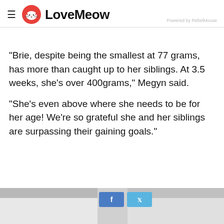LoveMeow — Powered by RebelMouse
"Brie, despite being the smallest at 77 grams, has more than caught up to her siblings. At 3.5 weeks, she's over 400grams," Megyn said.
"She's even above where she needs to be for her age! We're so grateful she and her siblings are surpassing their gaining goals."
[Figure (photo): Partially visible photo at bottom of page with blurred background and social media share buttons (Facebook and Twitter) overlaid]